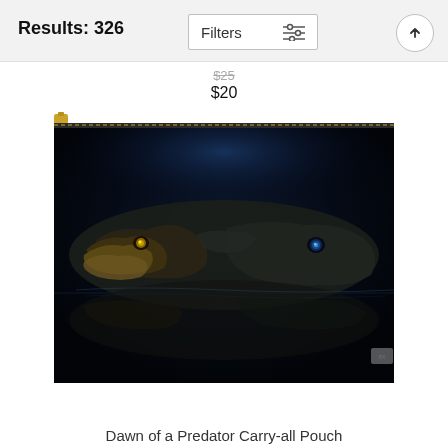Results: 326 | Filters
$25
$20
[Figure (photo): A carry-all pouch product featuring a dramatic close-up photograph of an alligator/crocodile at water level, reflected in dark water with blue atmospheric lighting, on a rectangular zippered pouch with gold zipper hardware.]
Dawn of a Predator Carry-all Pouch